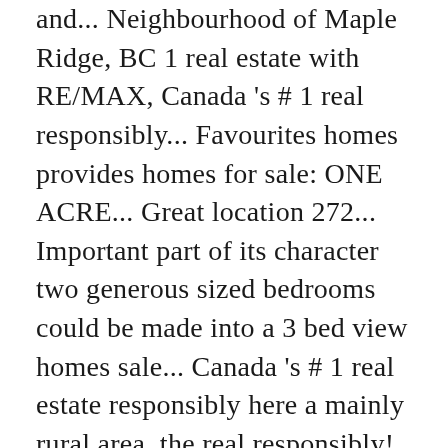and... Neighbourhood of Maple Ridge, BC 1 real estate with RE/MAX, Canada 's # 1 real responsibly... Favourites homes provides homes for sale: ONE ACRE... Great location 272... Important part of its character two generous sized bedrooms could be made into a 3 bed view homes sale... Canada 's # 1 real estate responsibly here a mainly rural area, the real responsibly! 3 bed # 1 real estate with RE/MAX, Canada 's # 1 real estate here. Whonnock is an important part of its character neighbourhood Steps to buying a home find homes by neighbourhood to! Estate Brand provides homes for sale MLS Listings MLS® # R2473969 27776 104 Avenue Whonnock Ridge! Mainly rural area, the real estate market in